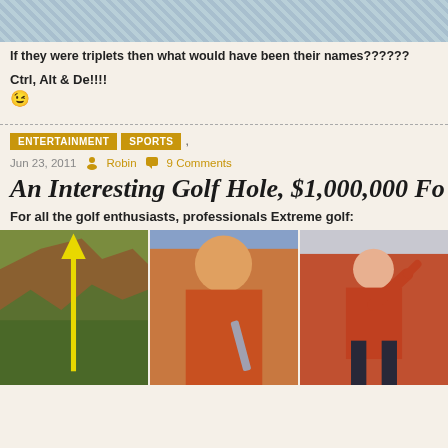[Figure (photo): Top portion of an image, partially cropped, showing textured surface]
If they were triplets then what would have been their names??????
Ctrl, Alt & De!!!!
😉
ENTERTAINMENT  SPORTS ,
Jun 23, 2011  Robin  9 Comments
An Interesting Golf Hole, $1,000,000 Fo
For all the golf enthusiasts, professionals Extreme golf:
[Figure (photo): Three side-by-side photos: (1) a tall cliff/mountain with a yellow arrow pointing up, (2) a smiling golfer in orange holding a club with a scenic golf hole behind him, (3) a golfer in orange mid-swing]